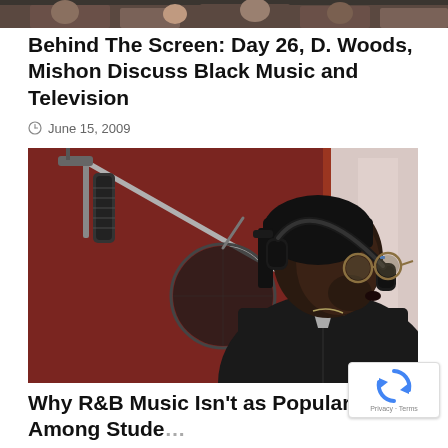[Figure (photo): Partial top strip of a photograph showing people, cropped at the very top of the page]
Behind The Screen: Day 26, D. Woods, Mishon Discuss Black Music and Television
June 15, 2009
[Figure (photo): A Black male musician wearing headphones and a durag, singing into a professional studio microphone with a pop filter, in a recording studio with a red acoustic panel in the background. He is wearing glasses and a black leather jacket.]
Why R&B Music Isn't as Popular Among Stude It Should Be